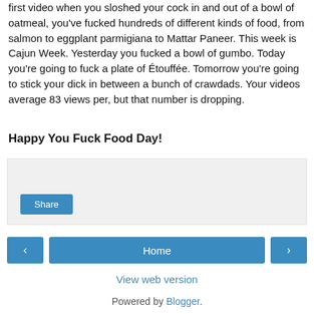first video when you sloshed your cock in and out of a bowl of oatmeal, you've fucked hundreds of different kinds of food, from salmon to eggplant parmigiana to Mattar Paneer. This week is Cajun Week. Yesterday you fucked a bowl of gumbo. Today you're going to fuck a plate of Étouffée. Tomorrow you're going to stick your dick in between a bunch of crawdads. Your videos average 83 views per, but that number is dropping.
Happy You Fuck Food Day!
[Figure (other): Share button widget area with light gray background]
< Home >
View web version
Powered by Blogger.